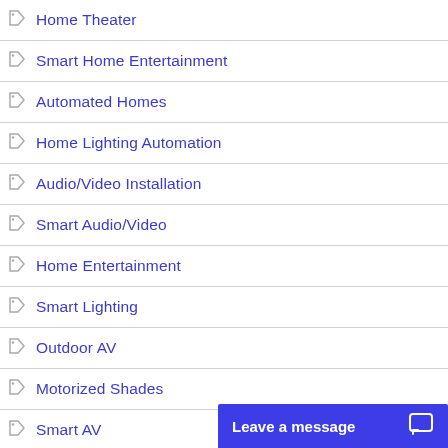Home Theater
Smart Home Entertainment
Automated Homes
Home Lighting Automation
Audio/Video Installation
Smart Audio/Video
Home Entertainment
Smart Lighting
Outdoor AV
Motorized Shades
Smart AV
Lighting Control Systems
Outdoor Entertainment
Audio/Video
Automated Windo...
Motorized Windo...
Leave a message